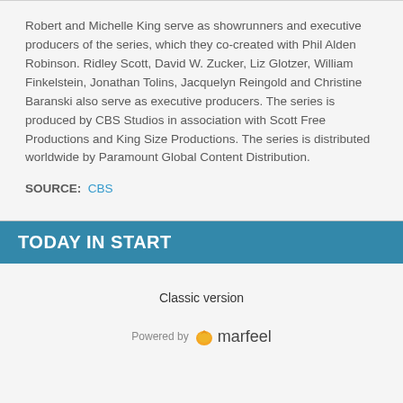Robert and Michelle King serve as showrunners and executive producers of the series, which they co-created with Phil Alden Robinson. Ridley Scott, David W. Zucker, Liz Glotzer, William Finkelstein, Jonathan Tolins, Jacquelyn Reingold and Christine Baranski also serve as executive producers. The series is produced by CBS Studios in association with Scott Free Productions and King Size Productions. The series is distributed worldwide by Paramount Global Content Distribution.
SOURCE:  CBS
TODAY IN START
Classic version
Powered by marfeel